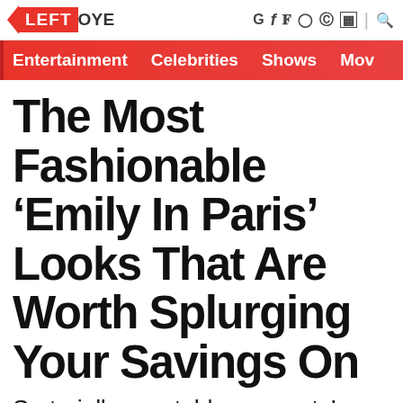LEFT OYE — navigation and social icons
Entertainment  Celebrities  Shows  Mov
The Most Fashionable ‘Emily In Paris’ Looks That Are Worth Splurging Your Savings On
Sartorially covetable moments!